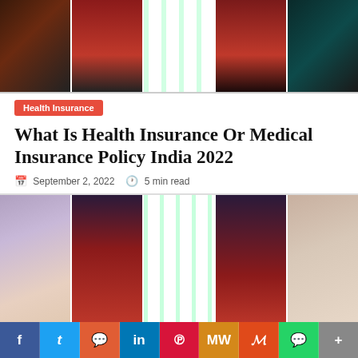[Figure (photo): Top strip of 5 fashion/portrait photos arranged horizontally]
Health Insurance
What Is Health Insurance Or Medical Insurance Policy India 2022
September 2, 2022  5 min read
[Figure (photo): Bottom strip of 5 fashion/portrait photos of women arranged horizontally]
f  Twitter  Reddit  in  Pinterest  MW  Mix  WhatsApp  More